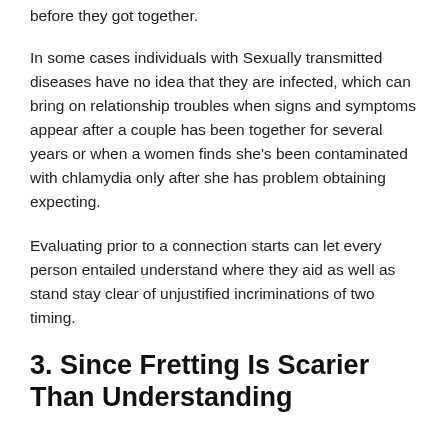before they got together.
In some cases individuals with Sexually transmitted diseases have no idea that they are infected, which can bring on relationship troubles when signs and symptoms appear after a couple has been together for several years or when a women finds she’s been contaminated with chlamydia only after she has problem obtaining expecting.
Evaluating prior to a connection starts can let every person entailed understand where they aid as well as stand stay clear of unjustified incriminations of two timing.
3. Since Fretting Is Scarier Than Understanding